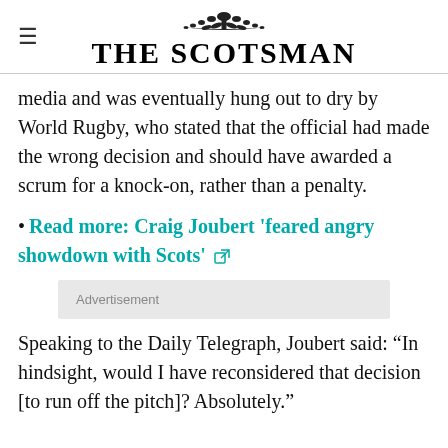THE SCOTSMAN
media and was eventually hung out to dry by World Rugby, who stated that the official had made the wrong decision and should have awarded a scrum for a knock-on, rather than a penalty.
• Read more: Craig Joubert 'feared angry showdown with Scots' [external link]
Advertisement
Speaking to the Daily Telegraph, Joubert said: “In hindsight, would I have reconsidered that decision [to run off the pitch]? Absolutely.”